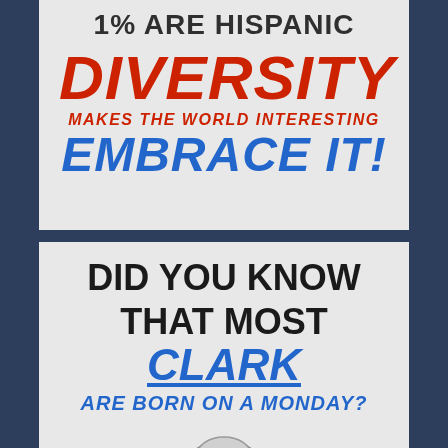1% ARE HISPANIC
DIVERSITY MAKES THE WORLD INTERESTING EMBRACE IT!
DID YOU KNOW THAT MOST CLARK ARE BORN ON A MONDAY?
[Figure (illustration): Partial illustration of a cartoon figure at the bottom of the page]